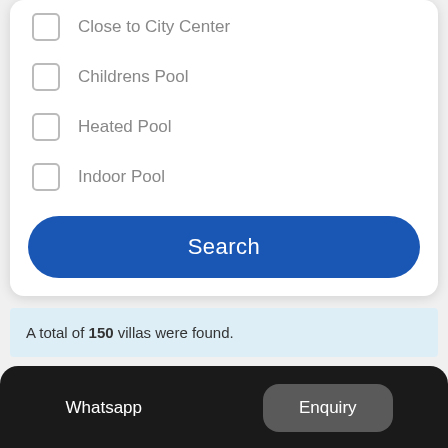Close to City Center
Childrens Pool
Heated Pool
Indoor Pool
Search
A total of 150 villas were found.
Extra Choice
Whatsapp
Enquiry